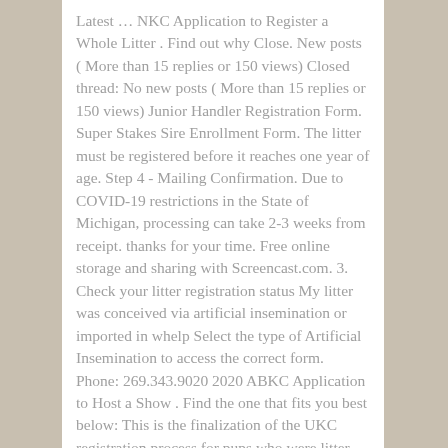Latest … NKC Application to Register a Whole Litter . Find out why Close. New posts ( More than 15 replies or 150 views) Closed thread: No new posts ( More than 15 replies or 150 views) Junior Handler Registration Form. Super Stakes Sire Enrollment Form. The litter must be registered before it reaches one year of age. Step 4 - Mailing Confirmation. Due to COVID-19 restrictions in the State of Michigan, processing can take 2-3 weeks from receipt. thanks for your time. Free online storage and sharing with Screencast.com. 3. Check your litter registration status My litter was conceived via artificial insemination or imported in whelp Select the type of Artificial Insemination to access the correct form. Phone: 269.343.9020 2020 ABKC Application to Host a Show . Find the one that fits you best below: This is the finalization of the UKC registration process for pups who were litter registered. Registering A Litter. Form 2 - Artificial insemination (Download) From £0.00. Home > Registration > Litter Registration > Online Litter Registration . UKC Forums > Departments > UKC Coonhounds > Online litter registration !! Litter